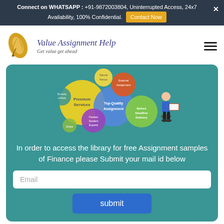Connect on WHATSAPP : +91-9872003804, Uninterrupted Access, 24x7 Availability, 100% Confidential. Contact Now
[Figure (logo): Value Assignment Help logo with feather quill and text 'Value Assignment Help - Get value get ahead']
[Figure (infographic): Colorful bubble infographic showing Premium Services, Top-Quality Assignment, Fastest Student Experts, Before Deadline Delivery, Natural Person, External Assignment bubbles with student reading illustration]
In order to access the library for free Assignment samples of Finance please Submit your mail id below
Samples of Finance